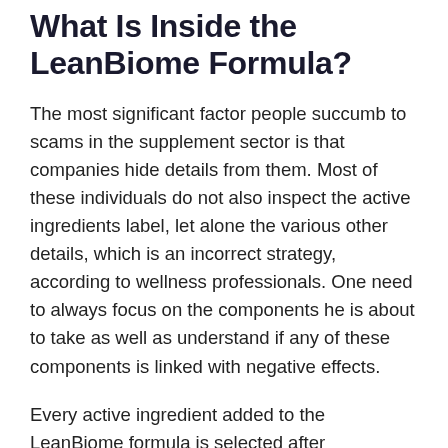What Is Inside the LeanBiome Formula?
The most significant factor people succumb to scams in the supplement sector is that companies hide details from them. Most of these individuals do not also inspect the active ingredients label, let alone the various other details, which is an incorrect strategy, according to wellness professionals. One need to always focus on the components he is about to take as well as understand if any of these components is linked with negative effects.
Every active ingredient added to the LeanBiome formula is selected after undergoing the research data showing its advantages. Making use of the